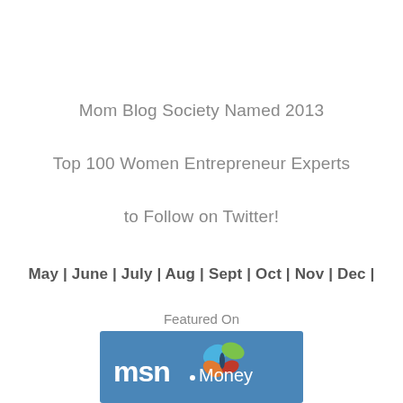Mom Blog Society Named 2013 Top 100 Women Entrepreneur Experts to Follow on Twitter!
May | June | July | Aug | Sept | Oct | Nov | Dec |
Featured On
[Figure (logo): MSN Money logo on blue background with butterfly icon]